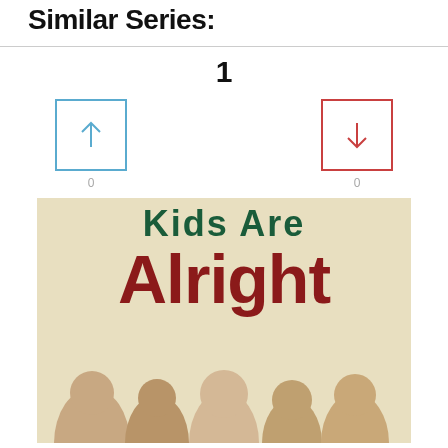Similar Series:
1
[Figure (screenshot): Up-vote button with blue border and upward arrow, showing count 0]
[Figure (screenshot): Down-vote button with red border and downward arrow, showing count 0]
[Figure (photo): TV show poster for 'The Kids Are Alright' showing the title text in green and dark red with a group of people at the bottom]